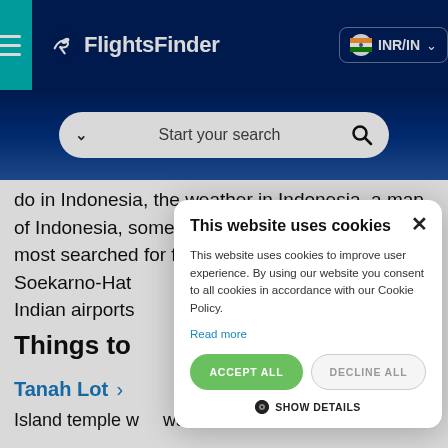FlightsFinder — INR/IN
do in Indonesia, the weather in Indonesia, a map of Indonesia, some travel videos of Indonesia and most searched for flights to and from the main Soekarno-Hatta International Airport among other Indian airports
Things to
Tanah Lot
Island temple with water views
[Figure (screenshot): Cookie consent modal dialog with title 'This website uses cookies', body text, Read more link, ACCEPT ALL and DECLINE ALL buttons, and SHOW DETAILS option]